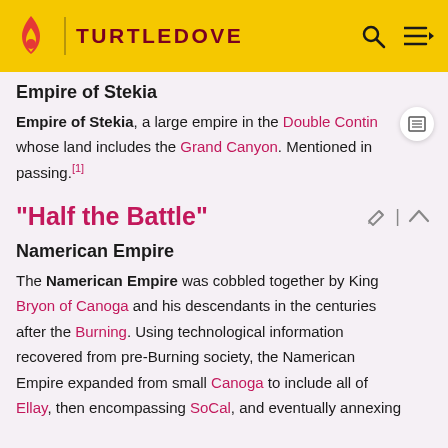TURTLEDOVE
Empire of Stekia
Empire of Stekia, a large empire in the Double Contin whose land includes the Grand Canyon. Mentioned in passing.[1]
"Half the Battle"
Namerican Empire
The Namerican Empire was cobbled together by King Bryon of Canoga and his descendants in the centuries after the Burning. Using technological information recovered from pre-Burning society, the Namerican Empire expanded from small Canoga to include all of Ellay, then encompassing SoCal, and eventually annexing